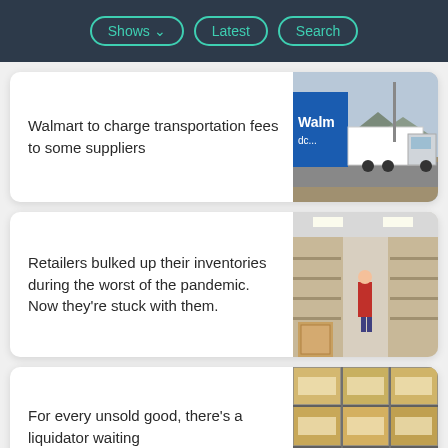Shows | Latest | Search
Walmart to charge transportation fees to some suppliers
[Figure (photo): Walmart branded truck driving on a road past a blue Walmart sign, open landscape in background]
Retailers bulked up their inventories during the worst of the pandemic. Now they're stuck with them.
[Figure (photo): Interior of a warehouse or store with mostly empty shelves, person in red shirt visible in the aisle, boxes on the floor]
For every unsold good, there's a liquidator waiting
[Figure (photo): Rows of shelving units in a liquidation warehouse filled with boxed/packaged goods in yellow and beige packaging]